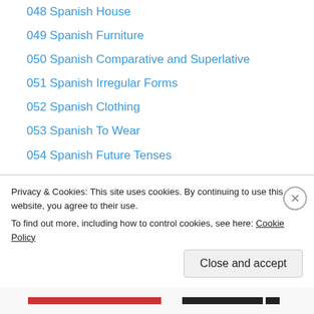048 Spanish House
049 Spanish Furniture
050 Spanish Comparative and Superlative
051 Spanish Irregular Forms
052 Spanish Clothing
053 Spanish To Wear
054 Spanish Future Tenses
055 Spanish Preceding Adjectives
056 Spanish More Adjectives
057 Spanish Sports and Hobbies
058 Spanish Nature
059 Spanish To Say and to Go Out
060 Spanish Para vs. Por and Pero vs. Sino
061 Spanish Object Pronouns
Privacy & Cookies: This site uses cookies. By continuing to use this website, you agree to their use.
To find out more, including how to control cookies, see here: Cookie Policy
Close and accept